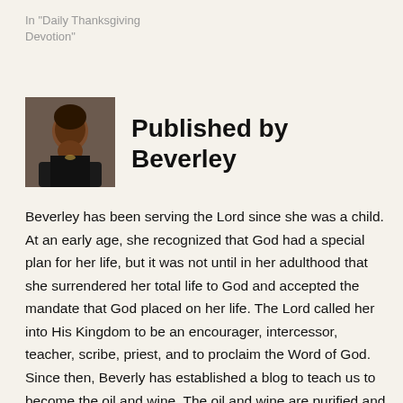In "Daily Thanksgiving Devotion"
Published by Beverley
[Figure (photo): Author photo of Beverley, a woman in a dark jacket]
Beverley has been serving the Lord since she was a child. At an early age, she recognized that God had a special plan for her life, but it was not until in her adulthood that she surrendered her total life to God and accepted the mandate that God placed on her life. The Lord called her into His Kingdom to be an encourager, intercessor, teacher, scribe, priest, and to proclaim the Word of God. Since then, Beverly has established a blog to teach us to become the oil and wine. The oil and wine are purified and mature products, which is the advanced level that the Lord expected of us. In 2017, Beverley published her first book, Harm Not The Oil And Wine. In it, she